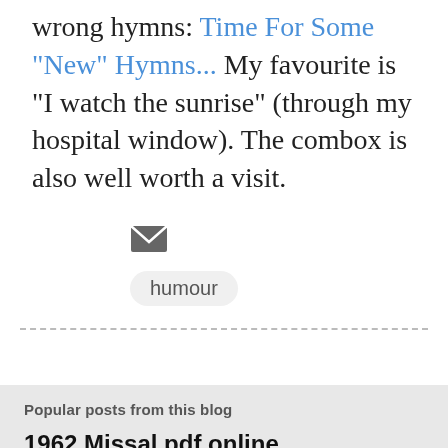wrong hymns: Time For Some "New" Hymns... My favourite is "I watch the sunrise" (through my hospital window). The combox is also well worth a visit.
[Figure (illustration): Email envelope icon in dark gray]
humour
Popular posts from this blog
1962 Missal pdf online
October 05, 2007